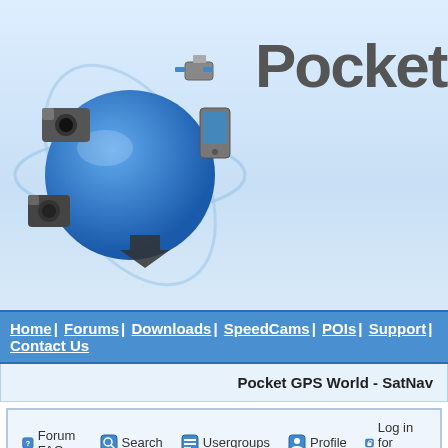[Figure (logo): PocketGPS World website header with globe logo and brand name 'PocketGPSW' (truncated)]
Home | Forums | Downloads | SpeedCams | POIs | Support | Contact Us
Pocket GPS World - SatNav
Forum FAQ  Search  Usergroups  Profile  Log in for private
New Average Speed Cameras For Devon
new topic  post reply  Pocket GPS World Forum Index -> Non-Te
| Author |  |
| --- | --- |